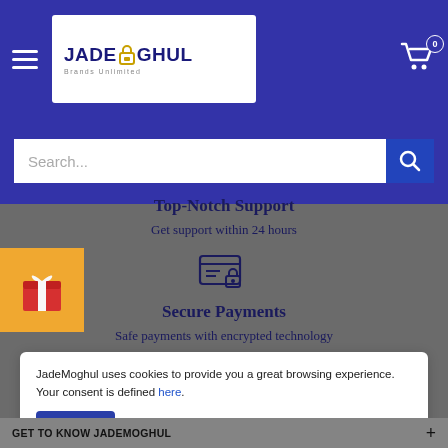[Figure (screenshot): JadeMoghul e-commerce website screenshot showing navigation bar with hamburger menu, logo, cart icon, search bar, Top-Notch Support section, Secure Payments section, cookie consent banner, and footer]
JadeMoghul - Search...
Top-Notch Support
Get support within 24 hours
Secure Payments
Safe payments with encrypted technology
JadeMoghul uses cookies to provide you a great browsing experience. Your consent is defined here.
Sure!
GET TO KNOW JADEMOGHUL